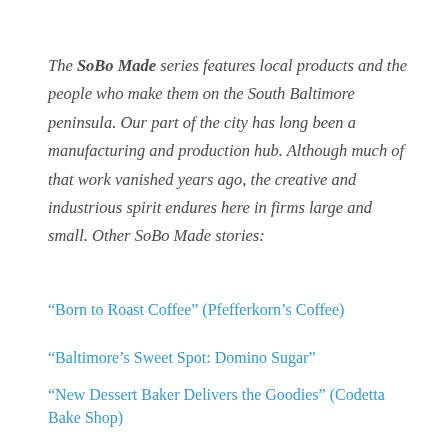The SoBo Made series features local products and the people who make them on the South Baltimore peninsula. Our part of the city has long been a manufacturing and production hub. Although much of that work vanished years ago, the creative and industrious spirit endures here in firms large and small. Other SoBo Made stories:
“Born to Roast Coffee” (Pfefferkorn’s Coffee)
“Baltimore’s Sweet Spot: Domino Sugar”
“New Dessert Baker Delivers the Goodies” (Codetta Bake Shop)